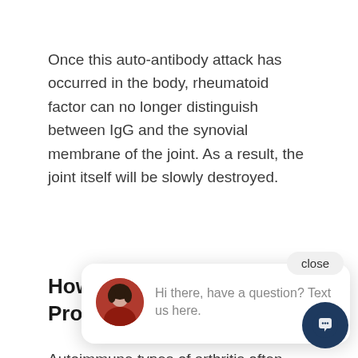Once this auto-antibody attack has occurred in the body, rheumatoid factor can no longer distinguish between IgG and the synovial membrane of the joint. As a result, the joint itself will be slowly destroyed.
[Figure (screenshot): Chat widget overlay with close button and avatar of a woman with chat message: 'Hi there, have a question? Text us here.']
How Auto Progress
Autoimmune types of arthritis often affect joints symmetrically (meaning both sides the body are equally affected). This chron disease leads to pain, stiffness, swelling,